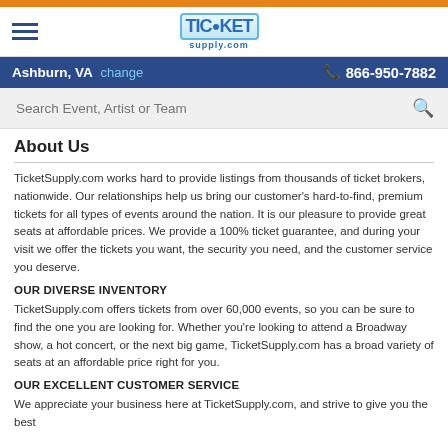TicketSupply.com - Ashburn, VA - 866-950-7882
About Us
TicketSupply.com works hard to provide listings from thousands of ticket brokers, nationwide. Our relationships help us bring our customer's hard-to-find, premium tickets for all types of events around the nation. It is our pleasure to provide great seats at affordable prices. We provide a 100% ticket guarantee, and during your visit we offer the tickets you want, the security you need, and the customer service you deserve.
OUR DIVERSE INVENTORY
TicketSupply.com offers tickets from over 60,000 events, so you can be sure to find the one you are looking for. Whether you're looking to attend a Broadway show, a hot concert, or the next big game, TicketSupply.com has a broad variety of seats at an affordable price right for you.
OUR EXCELLENT CUSTOMER SERVICE
We appreciate your business here at TicketSupply.com, and strive to give you the best